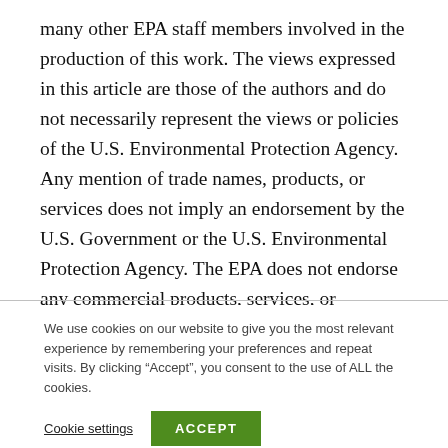many other EPA staff members involved in the production of this work. The views expressed in this article are those of the authors and do not necessarily represent the views or policies of the U.S. Environmental Protection Agency. Any mention of trade names, products, or services does not imply an endorsement by the U.S. Government or the U.S. Environmental Protection Agency. The EPA does not endorse any commercial products, services, or enterprises. This article is ORD tracking number ORD-
We use cookies on our website to give you the most relevant experience by remembering your preferences and repeat visits. By clicking “Accept”, you consent to the use of ALL the cookies.
Cookie settings
ACCEPT